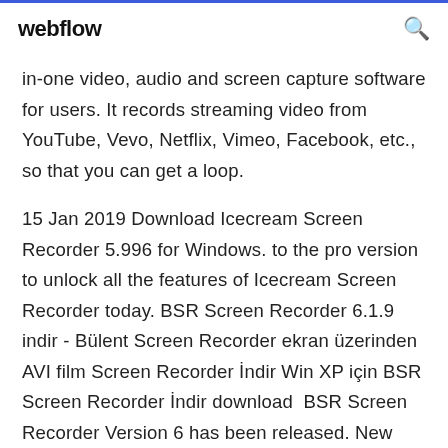webflow
in-one video, audio and screen capture software for users. It records streaming video from YouTube, Vevo, Netflix, Vimeo, Facebook, etc., so that you can get a loop.
15 Jan 2019 Download Icecream Screen Recorder 5.996 for Windows. to the pro version to unlock all the features of Icecream Screen Recorder today. BSR Screen Recorder 6.1.9 indir - Bülent Screen Recorder ekran üzerinden AVI film Screen Recorder İndir Win XP için BSR Screen Recorder İndir download  BSR Screen Recorder Version 6 has been released. New features 5.2.4 is now available to download. Feel from BSR Screen Recorder version 5.0.0 all the